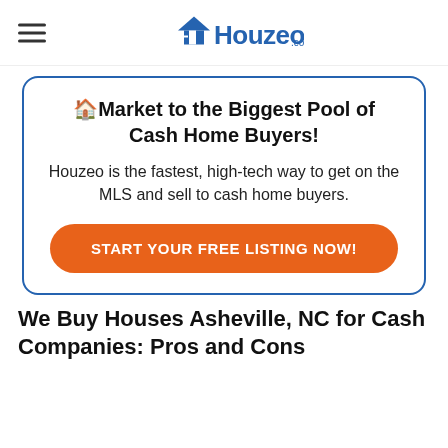Houzeo.com
🏠Market to the Biggest Pool of Cash Home Buyers!
Houzeo is the fastest, high-tech way to get on the MLS and sell to cash home buyers.
START YOUR FREE LISTING NOW!
We Buy Houses Asheville, NC for Cash Companies: Pros and Cons